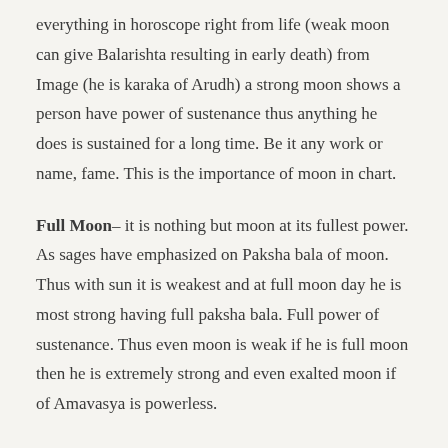everything in horoscope right from life (weak moon can give Balarishta resulting in early death) from Image (he is karaka of Arudh) a strong moon shows a person have power of sustenance thus anything he does is sustained for a long time. Be it any work or name, fame. This is the importance of moon in chart.
Full Moon– it is nothing but moon at its fullest power. As sages have emphasized on Paksha bala of moon. Thus with sun it is weakest and at full moon day he is most strong having full paksha bala. Full power of sustenance. Thus even moon is weak if he is full moon then he is extremely strong and even exalted moon if of Amavasya is powerless.